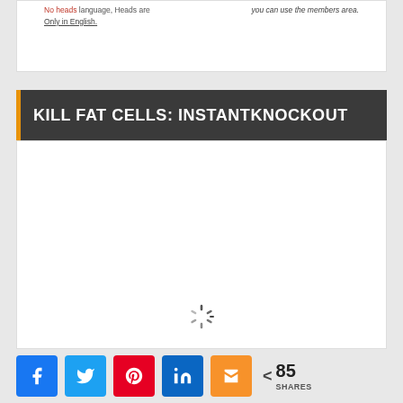[Figure (screenshot): Partial view of a website card with two columns of text, left column mentions 'Only in English.' with some red/dark text above, right column in italics mentions 'you can use the members area.']
KILL FAT CELLS: INSTANTKNOCKOUT
[Figure (screenshot): White content area with a loading spinner (circular dashed spinner) near the bottom center]
< 85 SHARES